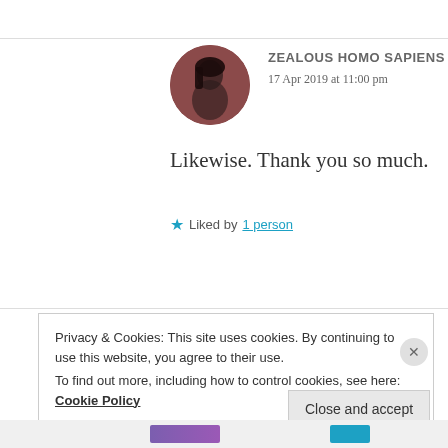ZEALOUS HOMO SAPIENS
17 Apr 2019 at 11:00 pm
Likewise. Thank you so much.
★ Liked by 1 person
Privacy & Cookies: This site uses cookies. By continuing to use this website, you agree to their use.
To find out more, including how to control cookies, see here: Cookie Policy
Close and accept